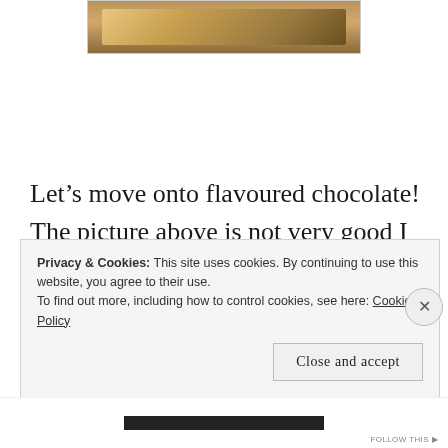[Figure (photo): Partial photo of chocolate product packaging in a supermarket setting, cropped at top of page]
Let’s move onto flavoured chocolate! The picture above is not very good I know, of course I had to put my thumb over the brand… (I told you I am not good at taking photos in supermarkets!) but it is Moo Free chocolate once again! They do many flavours
Privacy & Cookies: This site uses cookies. By continuing to use this website, you agree to their use.
To find out more, including how to control cookies, see here: Cookie Policy
Close and accept